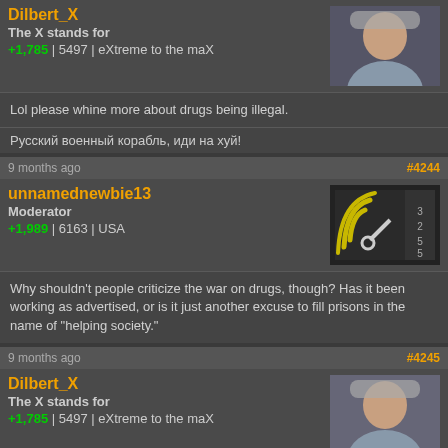Dilbert_X
The X stands for
+1,785 | 5497 | eXtreme to the maX
Lol please whine more about drugs being illegal.
Русский военный корабль, иди на хуй!
9 months ago #4244
unnamednewbie13
Moderator
+1,989 | 6163 | USA
Why shouldn't people criticize the war on drugs, though? Has it been working as advertised, or is it just another excuse to fill prisons in the name of "helping society."
9 months ago #4245
Dilbert_X
The X stands for
+1,785 | 5497 | eXtreme to the maX
If people don't want to be in prison they can maybe try not taking drugs.

If they're that dumb maybe prison is the best place for them.
Русский военный корабль, иди на хуй!